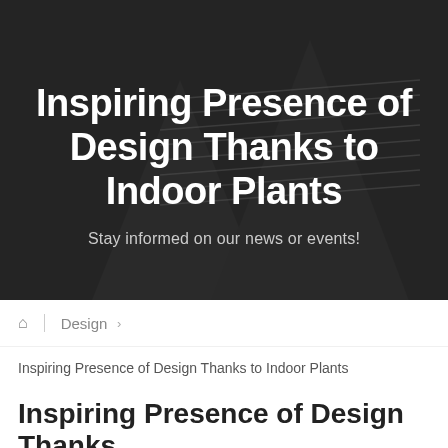[Figure (photo): Dark architectural exterior photo used as hero background, showing a modern building with horizontal wood cladding and geometric forms, overlaid with a dark semi-transparent gradient]
Inspiring Presence of Design Thanks to Indoor Plants
Stay informed on our news or events!
🏠  Design  >
Inspiring Presence of Design Thanks to Indoor Plants
Inspiring Presence of Design Thanks